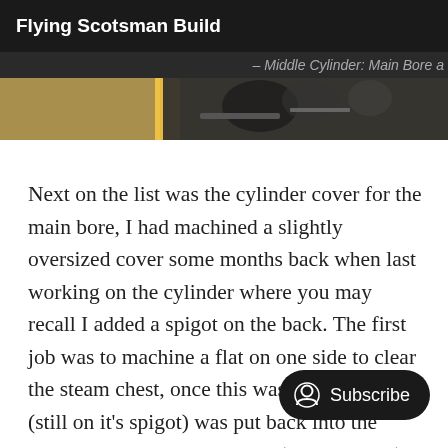Flying Scotsman Build
– Middle Cylinder: Main Bore a
[Figure (photo): Close-up photo of machined cylinder parts showing metallic components and machinery detail]
Next on the list was the cylinder cover for the main bore, I had machined a slightly oversized cover some months back when last working on the cylinder where you may recall I added a spigot on the back. The first job was to machine a flat on one side to clear the steam chest, once this was done the cover (still on it's spigot) was put back into the chuck and had the inner step (added spigot) reduced a little until it into the bore, this step is slightly tap taper on the end of the bore. The first picture shows